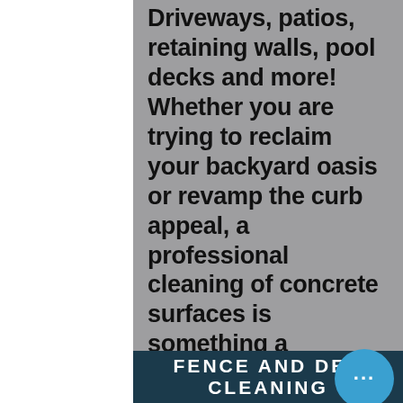Driveways, patios, retaining walls, pool decks and more! Whether you are trying to reclaim your backyard oasis or revamp the curb appeal, a professional cleaning of concrete surfaces is something a homeowner should consider when having exterior cleaning done. Our variety of chemicals and rotary disc surface cleaner allow us to leave you with high quality results that will certainly have your neighbors talking!
FENCE AND DECK CLEANING